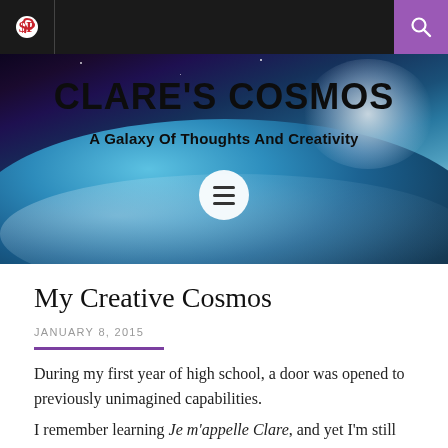Clare's Cosmos - navigation bar with Pinterest icon and search icon
[Figure (screenshot): Hero banner with space/earth image background showing the blog title 'CLARE'S COSMOS' and subtitle 'A Galaxy Of Thoughts And Creativity' with a hamburger menu button]
My Creative Cosmos
JANUARY 8, 2015
During my first year of high school, a door was opened to previously unimagined capabilities.
I remember learning Je m'appelle Clare, and yet I'm still waiting to travel to France so I can tell someone –